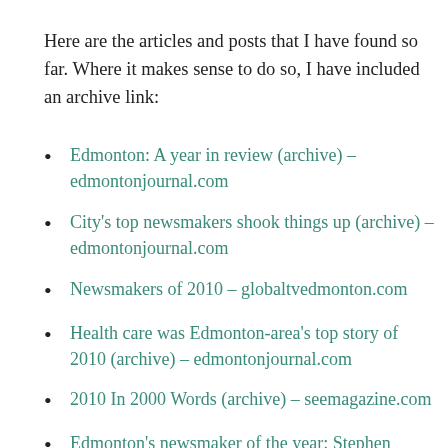Here are the articles and posts that I have found so far. Where it makes sense to do so, I have included an archive link:
Edmonton: A year in review (archive) – edmontonjournal.com
City's top newsmakers shook things up (archive) – edmontonjournal.com
Newsmakers of 2010 – globaltvedmonton.com
Health care was Edmonton-area's top story of 2010 (archive) – edmontonjournal.com
2010 In 2000 Words (archive) – seemagazine.com
Edmonton's newsmaker of the year: Stephen Mandel (archive) – metronews.ca